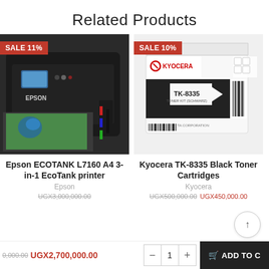Related Products
[Figure (photo): Epson ECOTANK L7160 A4 3-in-1 printer, black, with sale badge showing SALE 11%]
[Figure (photo): Kyocera TK-8335 Black Toner Cartridge box, with sale badge showing SALE 10%]
Epson ECOTANK L7160 A4 3-in-1 EcoTank printer
Kyocera TK-8335 Black Toner Cartridges
Epson
Kyocera
UGX3,000,000.00
UGX500,000.00 UGX450,000.00
0,000.00 UGX2,700,000.00
1
ADD TO C